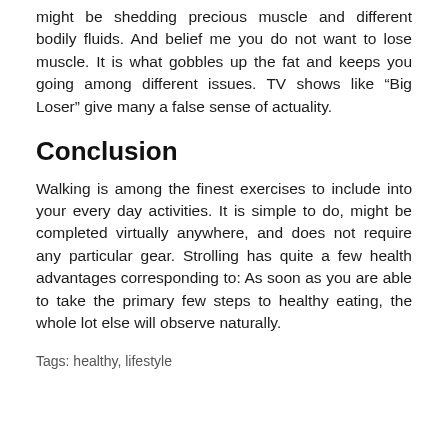might be shedding precious muscle and different bodily fluids. And belief me you do not want to lose muscle. It is what gobbles up the fat and keeps you going among different issues. TV shows like “Big Loser” give many a false sense of actuality.
Conclusion
Walking is among the finest exercises to include into your every day activities. It is simple to do, might be completed virtually anywhere, and does not require any particular gear. Strolling has quite a few health advantages corresponding to: As soon as you are able to take the primary few steps to healthy eating, the whole lot else will observe naturally.
Tags: healthy, lifestyle